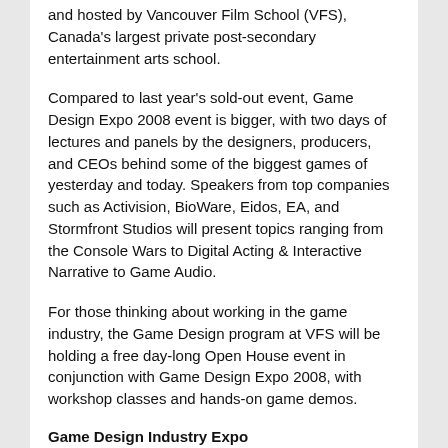Canada's largest private post-secondary entertainment arts school.
Compared to last year's sold-out event, Game Design Expo 2008 event is bigger, with two days of lectures and panels by the designers, producers, and CEOs behind some of the biggest games of yesterday and today. Speakers from top companies such as Activision, BioWare, Eidos, EA, and Stormfront Studios will present topics ranging from the Console Wars to Digital Acting & Interactive Narrative to Game Audio.
For those thinking about working in the game industry, the Game Design program at VFS will be holding a free day-long Open House event in conjunction with Game Design Expo 2008, with workshop classes and hands-on game demos.
Game Design Industry Expo
Saturday, January 19th, 9:00am – 7:30pm
Vancity Theatre, 1181 Seymour St.
Sunday, January 20th, 10:30am – 5:00pm
Vancouver Film School, 420 Homer St.
VFS Game Design Open House
Sunday, January 20th, 12:00pm – 4:00pm
Vancouver Film School, 390 West Hastings St.